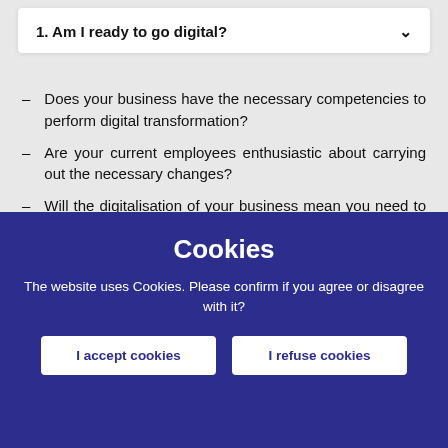1. Am I ready to go digital?
Does your business have the necessary competencies to perform digital transformation?
Are your current employees enthusiastic about carrying out the necessary changes?
Will the digitalisation of your business mean you need to acquire new skills or talent?
Cookies
The website uses Cookies. Please confirm if you agree or disagree with it?
I accept cookies
I refuse cookies